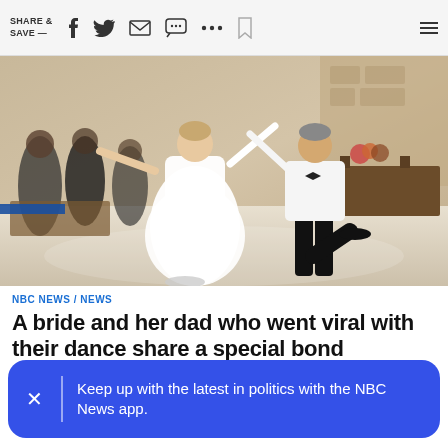SHARE & SAVE —
[Figure (photo): A bride in a white lace dress and her father in a white dress shirt and black pants dancing together on a dance floor at a wedding reception, with guests watching in the background]
NBC NEWS / NEWS
A bride and her dad who went viral with their dance share a special bond
Keep up with the latest in politics with the NBC News app.